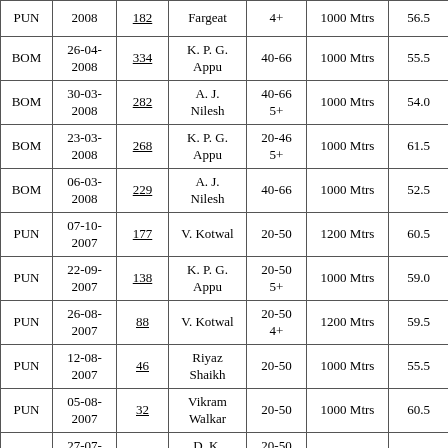| PUN | 2008 | 182 | Fargeat | 4+ | 1000 Mtrs | 56.5 |
| BOM | 26-04-2008 | 334 | K. P. G. Appu | 40-66 | 1000 Mtrs | 55.5 |
| BOM | 30-03-2008 | 282 | A. J. Nilesh | 40-66 5+ | 1000 Mtrs | 54.0 |
| BOM | 23-03-2008 | 268 | K. P. G. Appu | 20-46 5+ | 1000 Mtrs | 61.5 |
| BOM | 06-03-2008 | 229 | A. J. Nilesh | 40-66 | 1000 Mtrs | 52.5 |
| PUN | 07-10-2007 | 177 | V. Kotwal | 20-50 | 1200 Mtrs | 60.5 |
| PUN | 22-09-2007 | 138 | K. P. G. Appu | 20-50 5+ | 1000 Mtrs | 59.0 |
| PUN | 26-08-2007 | 88 | V. Kotwal | 20-50 4+ | 1200 Mtrs | 59.5 |
| PUN | 12-08-2007 | 46 | Riyaz Shaikh | 20-50 | 1000 Mtrs | 55.5 |
| PUN | 05-08-2007 | 32 | Vikram Walkar | 20-50 | 1000 Mtrs | 60.5 |
| PUN | 27-07-2007 | 21 | D. K. Ashish | 20-50 4+ | 1000 Mtrs | 60.0 |